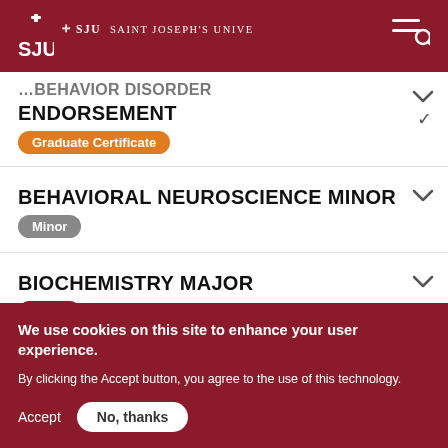SJU Saint Joseph's University
ENDORSEMENT
Graduate Certificate
BEHAVIORAL NEUROSCIENCE MINOR
Minor
BIOCHEMISTRY MAJOR
Major
We use cookies on this site to enhance your user experience.
By clicking the Accept button, you agree to the use of this technology.
Accept   No, thanks